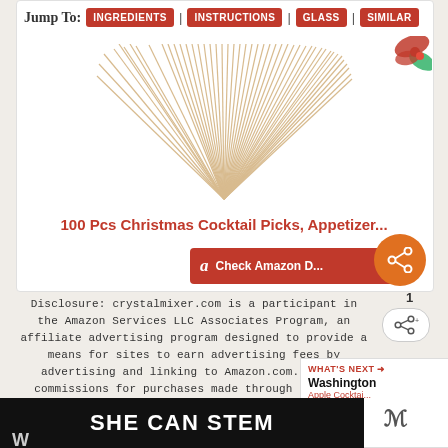Jump To: INGREDIENTS | INSTRUCTIONS | GLASS | SIMILAR
[Figure (photo): Product image showing 100 Pcs Christmas Cocktail Picks spread out in a fan shape, with Christmas decorations visible in the upper right corner]
100 Pcs Christmas Cocktail Picks, Appetizer...
[Figure (other): Check Amazon button with Amazon logo 'a' icon in red/orange]
1
[Figure (other): Share icon button]
Disclosure: crystalmixer.com is a participant in the Amazon Services LLC Associates Program, an affiliate advertising program designed to provide a means for sites to earn advertising fees by advertising and linking to Amazon.com. We get commissions for purchases made through links in this post.
WHAT'S NEXT → Washington Apple Cocktail
[Figure (other): SHE CAN STEM advertisement banner in dark background with white bold text]